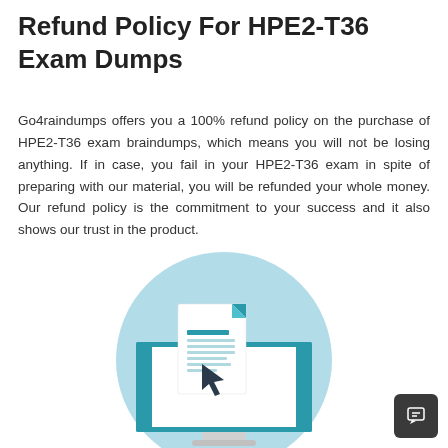Refund Policy For HPE2-T36 Exam Dumps
Go4raindumps offers you a 100% refund policy on the purchase of HPE2-T36 exam braindumps, which means you will not be losing anything. If in case, you fail in your HPE2-T36 exam in spite of preparing with our material, you will be refunded your whole money. Our refund policy is the commitment to your success and it also shows our trust in the product.
[Figure (illustration): Illustration of a desktop monitor with a document and cursor icon, set inside a light blue circle — representing online exam or document review.]